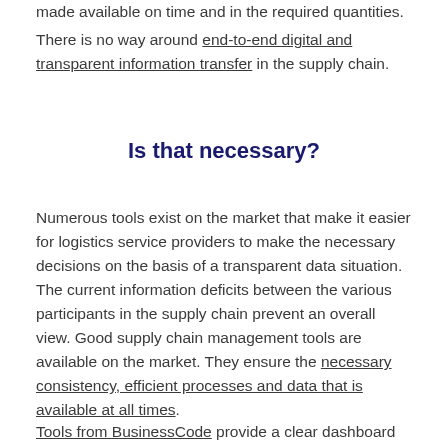made available on time and in the required quantities.
There is no way around end-to-end digital and transparent information transfer in the supply chain.
Is that necessary?
Numerous tools exist on the market that make it easier for logistics service providers to make the necessary decisions on the basis of a transparent data situation. The current information deficits between the various participants in the supply chain prevent an overall view. Good supply chain management tools are available on the market. They ensure the necessary consistency, efficient processes and data that is available at all times.
Tools from BusinessCode provide a clear dashboard to